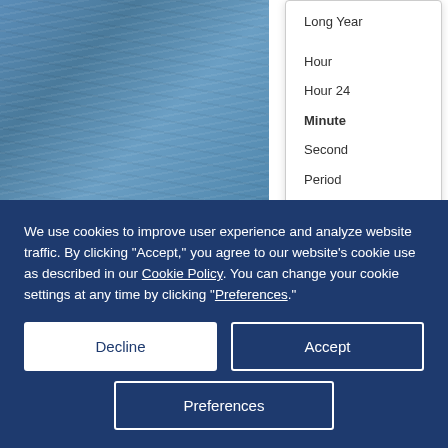[Figure (screenshot): Screenshot showing a water/ocean background on the left and a dropdown menu on the right with items: Long Year, Hour, Hour 24, Minute, Second, Period, Zone]
If you can think of some variables that should be added to the list let us know. Automatic
We use cookies to improve user experience and analyze website traffic. By clicking “Accept,” you agree to our website's cookie use as described in our Cookie Policy. You can change your cookie settings at any time by clicking “Preferences.”
Decline
Accept
Preferences